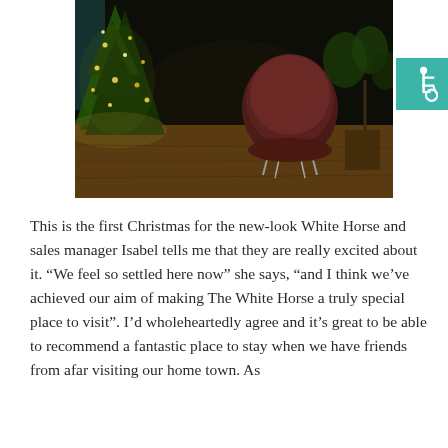[Figure (photo): Interior photo of a restaurant or bar at night with a lit Christmas tree on the left, a dark red/velvet chair in the center-right, plants, and warm ambient lighting on a wooden floor.]
This is the first Christmas for the new-look White Horse and sales manager Isabel tells me that they are really excited about it. “We feel so settled here now” she says, “and I think we’ve achieved our aim of making The White Horse a truly special place to visit”. I’d wholeheartedly agree and it’s great to be able to recommend a fantastic place to stay when we have friends from afar visiting our home town. As